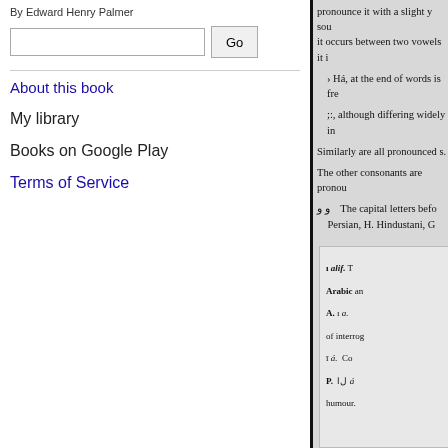By Edward Henry Palmer
About this book
My library
Books on Google Play
Terms of Service
pronounce it with a slight y sound; when it occurs between two vowels it ...
› Há, at the end of words is fre...
;:, although differing widely in...
Similarly are all pronounced s.
The other consonants are pronou...
ﻭ ﻭ   The capital letters befo... Persian, H. Hindustani, G...
ı alif. T
Arabic an
A. ı a.
of interrog
ī á. Co
P. ﻝﺍ á... humour.